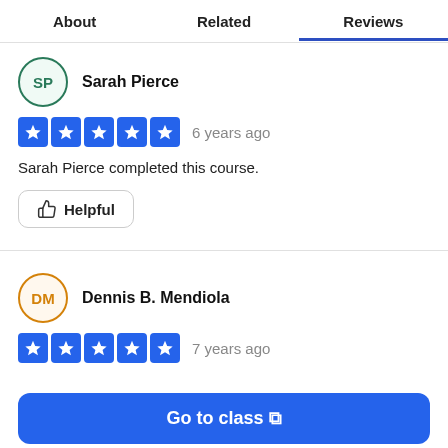About | Related | Reviews
Sarah Pierce
6 years ago — 5 stars
Sarah Pierce completed this course.
Helpful
Dennis B. Mendiola
7 years ago — 5 stars
Go to class
Helpful